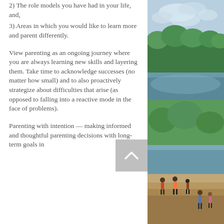2) The role models you have had in your life, and,
3) Areas in which you would like to learn more and parent differently.
View parenting as an ongoing journey where you are always learning new skills and layering them. Take time to acknowledge successes (no matter how small) and to also proactively strategize about difficulties that arise (as opposed to falling into a reactive mode in the face of problems).
Parenting with intention — making informed and thoughtful parenting decisions with long-term goals in
[Figure (photo): Outdoor park scene with trees and cloudy sky, people relaxing by water on steps below.]